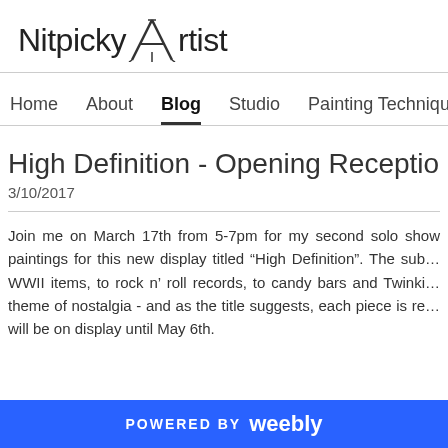[Figure (logo): Nitpicky Artist logo with an easel forming the letter A]
Home   About   Blog   Studio   Painting Techniques
High Definition - Opening Reception March...
3/10/2017
Join me on March 17th from 5-7pm for my second solo show... paintings for this new display titled “High Definition”. The sub... WWII items, to rock n’ roll records, to candy bars and Twinki... theme of nostalgia - and as the title suggests, each piece is re... will be on display until May 6th.
POWERED BY weebly